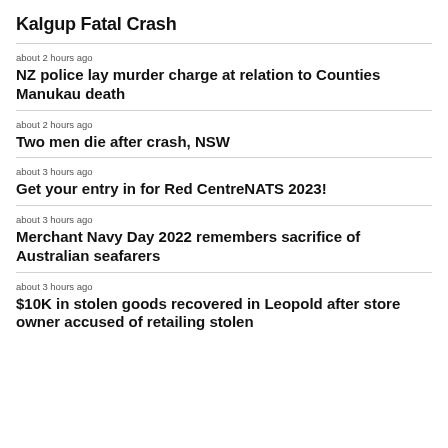Kalgup Fatal Crash
about 2 hours ago
NZ police lay murder charge at relation to Counties Manukau death
about 2 hours ago
Two men die after crash, NSW
about 3 hours ago
Get your entry in for Red CentreNATS 2023!
about 3 hours ago
Merchant Navy Day 2022 remembers sacrifice of Australian seafarers
about 3 hours ago
$10K in stolen goods recovered in Leopold after store owner accused of retailing stolen...